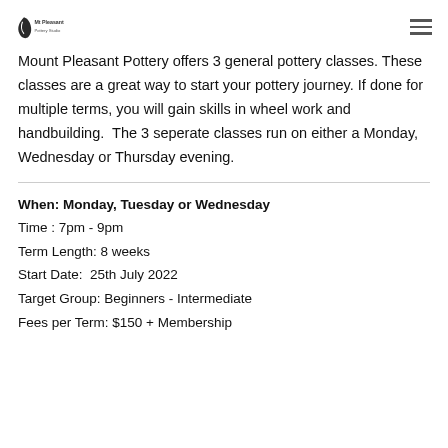Mt Pleasant Pottery Studio
Mount Pleasant Pottery offers 3 general pottery classes. These classes are a great way to start your pottery journey. If done for multiple terms, you will gain skills in wheel work and handbuilding.  The 3 seperate classes run on either a Monday, Wednesday or Thursday evening.
When: Monday, Tuesday or Wednesday
Time : 7pm - 9pm
Term Length: 8 weeks
Start Date:  25th July 2022
Target Group: Beginners - Intermediate
Fees per Term: $150 + Membership